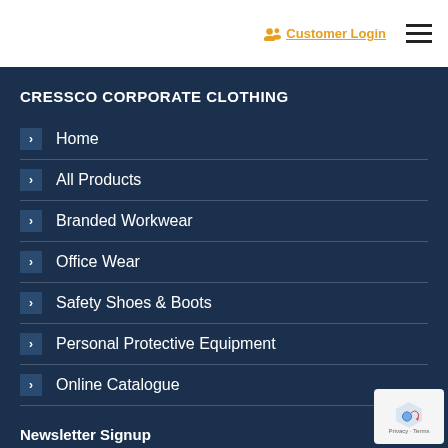Customer Login
CRESSCO CORPORATE CLOTHING
Home
All Products
Branded Workwear
Office Wear
Safety Shoes & Boots
Personal Protective Equipment
Online Catalogue
Newsletter Signup